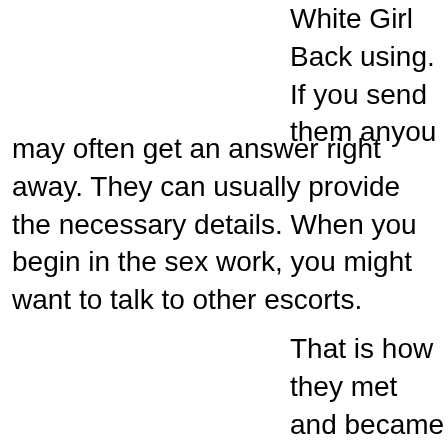White Girl Back using. If you send them anyou may often get an answer right away. They can usually provide the necessary details. When you begin in the sex work, you might want to talk to other escorts.
That is how they met and became interested in this Back Escort Com Morristown Tennessee profession. So should you ever want to discover about a prostitute